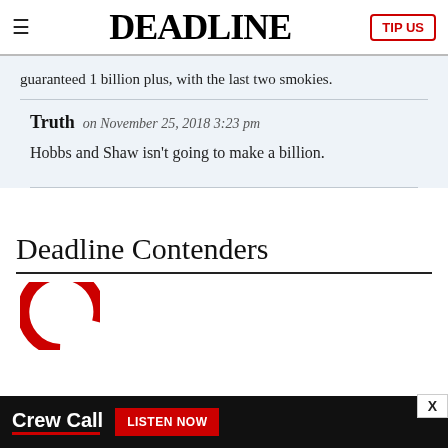DEADLINE | TIP US
guaranteed 1 billion plus, with the last two smokies.
Truth on November 25, 2018 3:23 pm

Hobbs and Shaw isn't going to make a billion.
Deadline Contenders
[Figure (logo): Deadline Contenders logo — partial red circle visible]
[Figure (screenshot): Advertisement bar: Crew Call — LISTEN NOW]